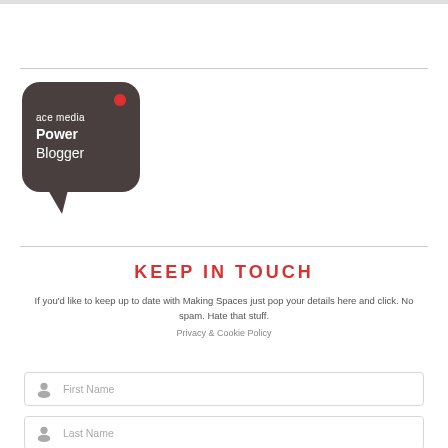[Figure (logo): Ace Media Power Blogger speech bubble logo — dark brown rounded speech bubble with white text 'ace media Power Blogger' and a small red dot, with a tail pointing down-left]
KEEP IN TOUCH
If you'd like to keep up to date with Making Spaces just pop your details here and click. No spam. Hate that stuff.
Privacy & Cookie Policy
First Name
Last Name